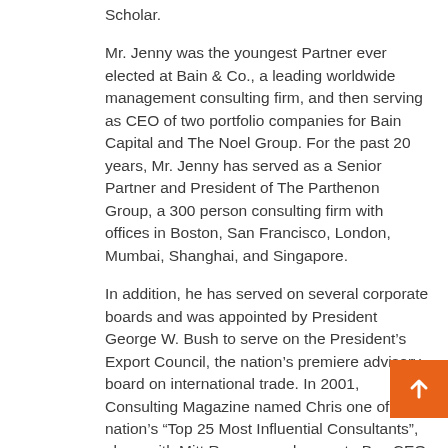Scholar.
Mr. Jenny was the youngest Partner ever elected at Bain & Co., a leading worldwide management consulting firm, and then serving as CEO of two portfolio companies for Bain Capital and The Noel Group. For the past 20 years, Mr. Jenny has served as a Senior Partner and President of The Parthenon Group, a 300 person consulting firm with offices in Boston, San Francisco, London, Mumbai, Shanghai, and Singapore.
In addition, he has served on several corporate boards and was appointed by President George W. Bush to serve on the President's Export Council, the nation's premiere advisory board on international trade. In 2001, Consulting Magazine named Chris one of the nation's “Top 25 Most Influential Consultants”, along with Mitt Romney and current eBay CEO John Donahoe, among others.
Mr. Jenny has served his current hometown community of Wayland, MA in many ways. He has served on numerous town committees, coached 45 youth soccer and baseball teams, cofounded Wayland High School’s Athletics Hall of Fame and has led fundraising efforts to build or improve